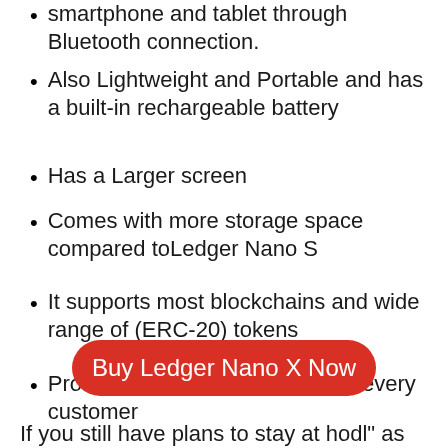smartphone and tablet through Bluetooth connection.
Also Lightweight and Portable and has a built-in rechargeable battery
Has a Larger screen
Comes with more storage space compared toLedger Nano S
It supports most blockchains and wide range of (ERC-20) tokens
Provides several  languages for every customer
It was designed by a famous company found in 2014 with great chip security
Can be obtained at an affordable price
[Figure (other): Red rounded button labeled 'Buy Ledger Nano X Now']
If you still have plans to stay at hodl” as